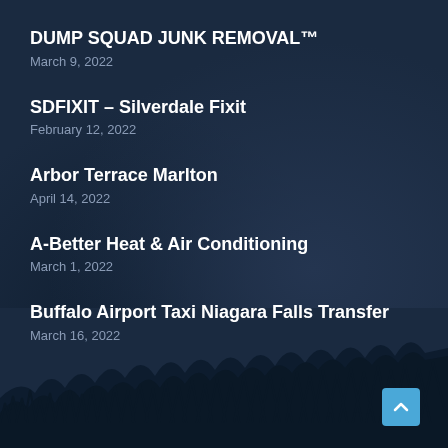DUMP SQUAD JUNK REMOVAL™
March 9, 2022
SDFIXIT – Silverdale Fixit
February 12, 2022
Arbor Terrace Marlton
April 14, 2022
A-Better Heat & Air Conditioning
March 1, 2022
Buffalo Airport Taxi Niagara Falls Transfer
March 16, 2022